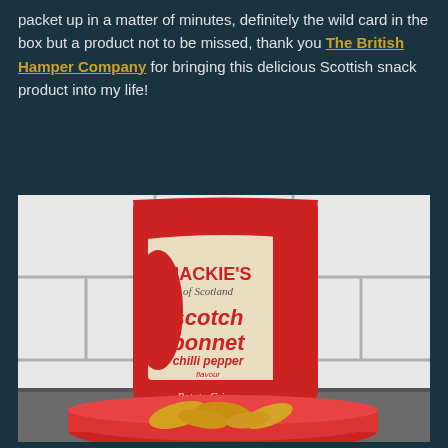packet up in a matter of minutes, definitely the wild card in the box but a product not to be missed, thank you The British Hamper Company for bringing this delicious Scottish snack product into my life!
[Figure (photo): Photo of a red bag of Mackie's of Scotland scotch bonnet chilli pepper flavour potato crisps standing against white tiles, with a red bowl of crisps in the foreground.]